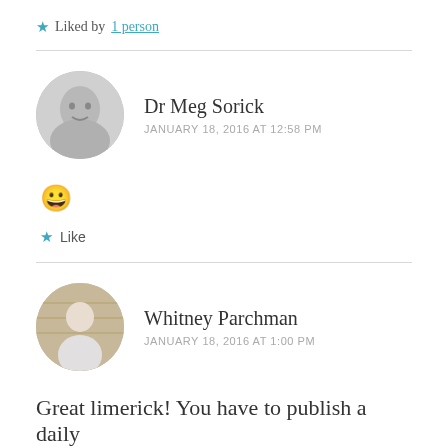★ Liked by 1 person
Dr Meg Sorick
JANUARY 18, 2016 AT 12:58 PM
😀
★ Like
Whitney Parchman
JANUARY 18, 2016 AT 1:00 PM
Great limerick! You have to publish a daily